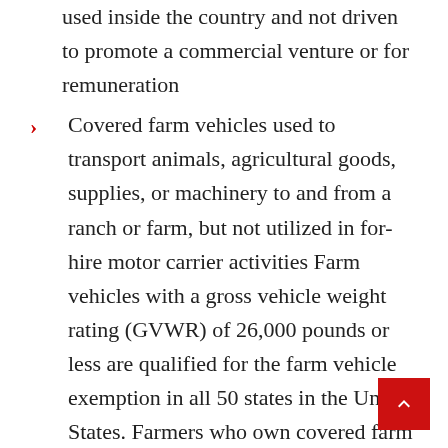used inside the country and not driven to promote a commercial venture or for remuneration
Covered farm vehicles used to transport animals, agricultural goods, supplies, or machinery to and from a ranch or farm, but not utilized in for-hire motor carrier activities Farm vehicles with a gross vehicle weight rating (GVWR) of 26,000 pounds or less are qualified for the farm vehicle exemption in all 50 states in the United States. Farmers who own covered farm vehicles with a gross vehicle weight rating (GVWR) of more than 26,001 pounds are eligible for the farm vehicle